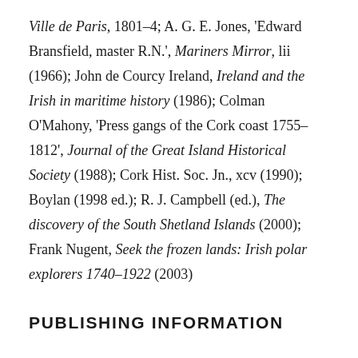Ville de Paris, 1801–4; A. G. E. Jones, 'Edward Bransfield, master R.N.', Mariners Mirror, lii (1966); John de Courcy Ireland, Ireland and the Irish in maritime history (1986); Colman O'Mahony, 'Press gangs of the Cork coast 1755–1812', Journal of the Great Island Historical Society (1988); Cork Hist. Soc. Jn., xcv (1990); Boylan (1998 ed.); R. J. Campbell (ed.), The discovery of the South Shetland Islands (2000); Frank Nugent, Seek the frozen lands: Irish polar explorers 1740–1922 (2003)
PUBLISHING INFORMATION